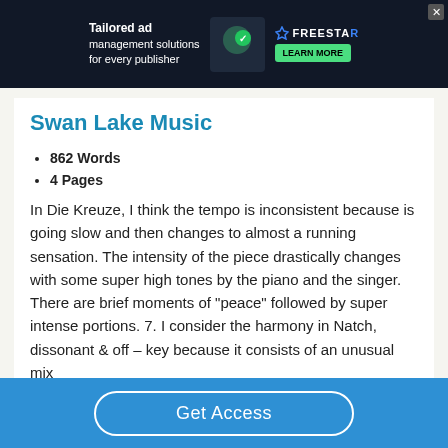[Figure (screenshot): Ad banner: Tailored ad management solutions for every publisher — Freestar, Learn More button]
Swan Lake Music
862 Words
4 Pages
In Die Kreuze, I think the tempo is inconsistent because is going slow and then changes to almost a running sensation. The intensity of the piece drastically changes with some super high tones by the piano and the singer. There are brief moments of “peace” followed by super intense portions. 7. I consider the harmony in Natch, dissonant & off – key because it consists of an unusual mix
Get Access